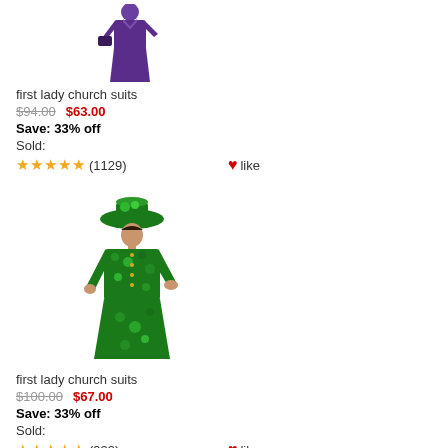[Figure (photo): Woman wearing purple church suit, cropped at top of page]
first lady church suits
$94.00  $63.00
Save: 33% off
Sold:
★★★★★ (1129)  ♥like
[Figure (photo): Woman wearing green floral church suit with matching green hat]
first lady church suits
$100.00  $67.00
Save: 33% off
Sold:
★★★★★ (933)  ♥like